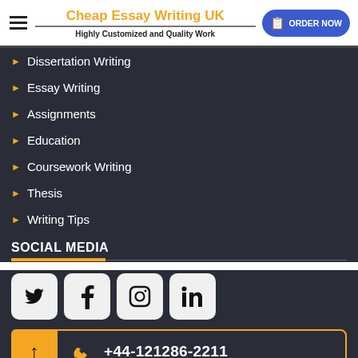Cheap Essay Writing UK — Highly Customized and Quality Work
Dissertation Writing
Essay Writing
Assignments
Education
Coursework Writing
Thesis
Writing Tips
SOCIAL MEDIA
[Figure (other): Social media icons: Twitter, Facebook, Instagram, LinkedIn]
+44-121286-2211